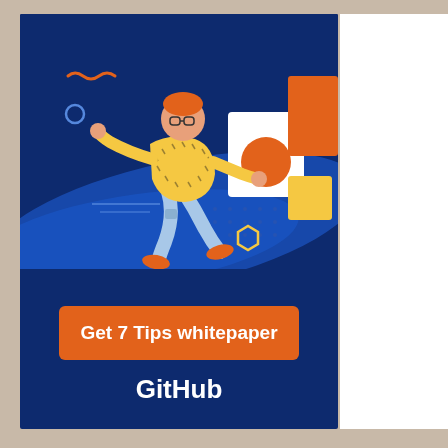[Figure (illustration): GitHub whitepaper promotion card. Dark navy blue background with a colorful flat illustration of a person running/leaping, wearing a yellow patterned sweater and light blue pants, with orange shoes. Background has blue swoosh shape. To the right are geometric shapes: white rectangle with orange circle, orange rectangle, yellow square. Decorative elements include wavy orange lines, an empty circle outline, yellow hexagon outline, and dot grid pattern.]
Get 7 Tips whitepaper
GitHub